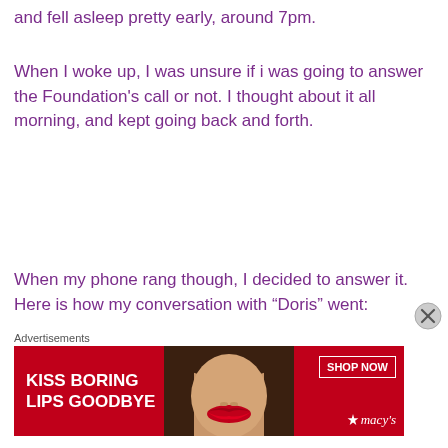and fell asleep pretty early, around 7pm.
When I woke up, I was unsure if i was going to answer the Foundation's call or not. I thought about it all morning, and kept going back and forth.
When my phone rang though, I decided to answer it. Here is how my conversation with “Doris” went:
[Figure (photo): Advertisement banner: red background with woman's face and red lips. Text reads 'KISS BORING LIPS GOODBYE' with 'SHOP NOW' button and Macy's logo.]